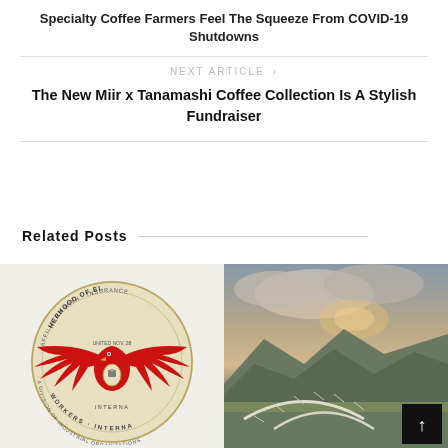Specialty Coffee Farmers Feel The Squeeze From COVID-19 Shutdowns
NEXT ARTICLE ›
The New Miir x Tanamashi Coffee Collection Is A Stylish Fundraiser
Related Posts
[Figure (logo): Brotherhood of Electrical Workers union logo — a red eagle with wings spread, circular badge with text 'Brotherhood of Electrical Workers International' and 'Affiliated with...' around the edge]
[Figure (photo): Landscape photo of mountains and cloudy sky at dusk/dawn with a white arched bridge or greenhouse structure over a field in the foreground]